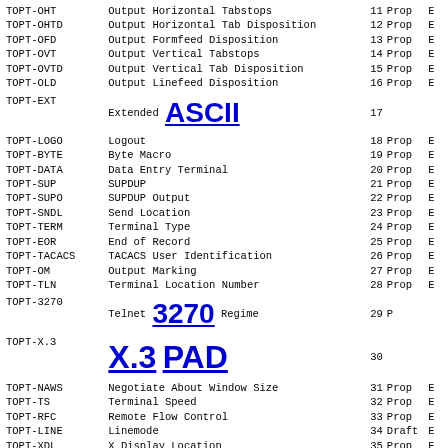| Name | Description | Num | Status | Flag |
| --- | --- | --- | --- | --- |
| TOPT-OHT | Output Horizontal Tabstops | 11 | Prop | E |
| TOPT-OHTD | Output Horizontal Tab Disposition | 12 | Prop | E |
| TOPT-OFD | Output Formfeed Disposition | 13 | Prop | E |
| TOPT-OVT | Output Vertical Tabstops | 14 | Prop | E |
| TOPT-OVTD | Output Vertical Tab Disposition | 15 | Prop | E |
| TOPT-OLD | Output Linefeed Disposition | 16 | Prop | E |
| TOPT-EXT | Extended ASCII | 17 |  |  |
| TOPT-LOGO | Logout | 18 | Prop | E |
| TOPT-BYTE | Byte Macro | 19 | Prop | E |
| TOPT-DATA | Data Entry Terminal | 20 | Prop | E |
| TOPT-SUP | SUPDUP | 21 | Prop | E |
| TOPT-SUPO | SUPDUP Output | 22 | Prop | E |
| TOPT-SNDL | Send Location | 23 | Prop | E |
| TOPT-TERM | Terminal Type | 24 | Prop | E |
| TOPT-EOR | End of Record | 25 | Prop | E |
| TOPT-TACACS | TACACS User Identification | 26 | Prop | E |
| TOPT-OM | Output Marking | 27 | Prop | E |
| TOPT-TLN | Terminal Location Number | 28 | Prop | E |
| TOPT-3270 | Telnet 3270 Regime | 29 | P |  |
| TOPT-X.3 | X.3 PAD | 30 |  |  |
| TOPT-NAWS | Negotiate About Window Size | 31 | Prop | E |
| TOPT-TS | Terminal Speed | 32 | Prop | E |
| TOPT-RFC | Remote Flow Control | 33 | Prop | E |
| TOPT-LINE | Linemode | 34 | Draft | E |
| TOPT-XDL | X Display Location | 35 | Prop | E |
| TOPT-ENVIR | Telnet Environment Option | 36 | Hist | M |